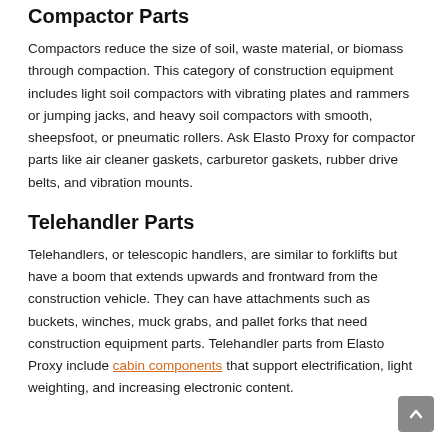Compactor Parts
Compactors reduce the size of soil, waste material, or biomass through compaction. This category of construction equipment includes light soil compactors with vibrating plates and rammers or jumping jacks, and heavy soil compactors with smooth, sheepsfoot, or pneumatic rollers. Ask Elasto Proxy for compactor parts like air cleaner gaskets, carburetor gaskets, rubber drive belts, and vibration mounts.
Telehandler Parts
Telehandlers, or telescopic handlers, are similar to forklifts but have a boom that extends upwards and frontward from the construction vehicle. They can have attachments such as buckets, winches, muck grabs, and pallet forks that need construction equipment parts. Telehandler parts from Elasto Proxy include cabin components that support electrification, light weighting, and increasing electronic content.